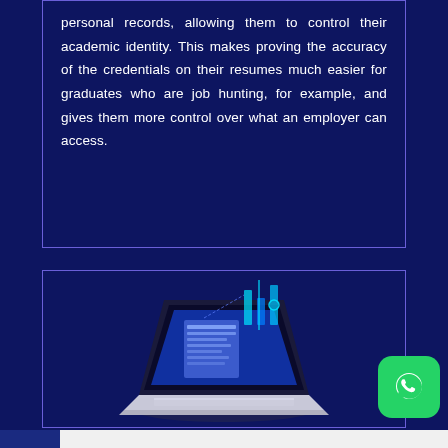personal records, allowing them to control their academic identity. This makes proving the accuracy of the credentials on their resumes much easier for graduates who are job hunting, for example, and gives them more control over what an employer can access.
[Figure (illustration): Isometric illustration of a laptop computer with a holographic document/data visualization displayed on the screen, featuring blue glowing charts and document icons floating above.]